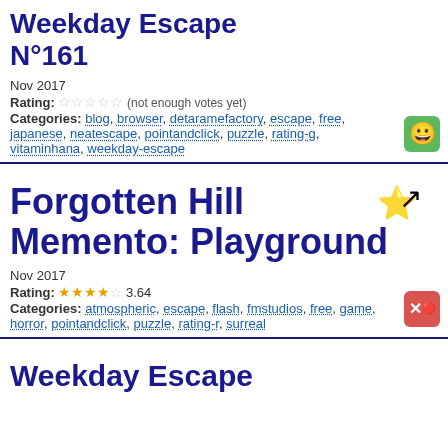Weekday Escape N°161
Nov 2017
Rating: ☆☆☆☆☆ (not enough votes yet)
Categories: blog, browser, detaramefactory, escape, free, japanese, neatescape, pointandclick, puzzle, rating-g, vitaminhana, weekday-escape
Forgotten Hill Memento: Playground
Nov 2017
Rating: ★★★★☆ 3.64
Categories: atmospheric, escape, flash, fmstudios, free, game, horror, pointandclick, puzzle, rating-r, surreal
Weekday Escape